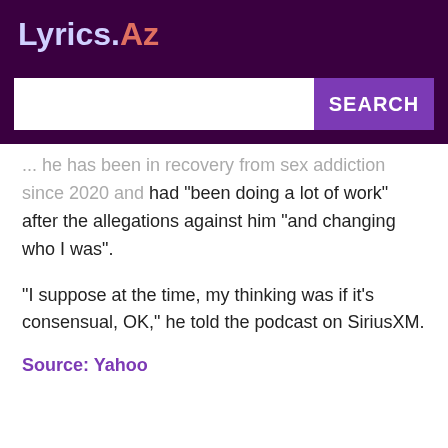Lyrics.Az
... he has been in recovery from sex addiction since 2020 and had "been doing a lot of work" after the allegations against him "and changing who I was".
"I suppose at the time, my thinking was if it's consensual, OK," he told the podcast on SiriusXM.
Source: Yahoo